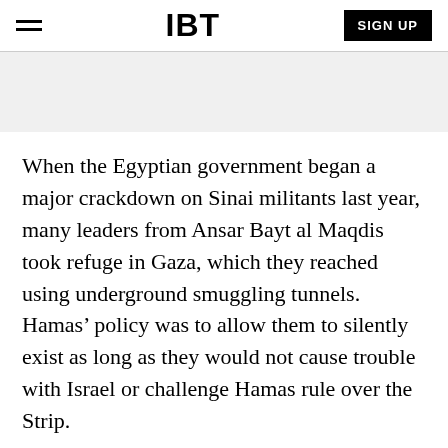IBT | SIGN UP
[Figure (other): Gray advertisement/banner placeholder area]
When the Egyptian government began a major crackdown on Sinai militants last year, many leaders from Ansar Bayt al Maqdis took refuge in Gaza, which they reached using underground smuggling tunnels. Hamas’ policy was to allow them to silently exist as long as they would not cause trouble with Israel or challenge Hamas rule over the Strip.